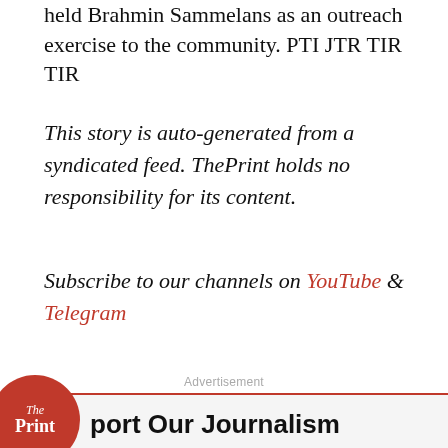held Brahmin Sammelans as an outreach exercise to the community. PTI JTR TIR TIR
This story is auto-generated from a syndicated feed. ThePrint holds no responsibility for its content.
Subscribe to our channels on YouTube & Telegram
Advertisement
port Our Journalism
India needs fair, non-hyphenated and questioning journalism, packed with on-ground reporting. ThePrint – with exceptional reporters, columnists and editors – is doing just that.